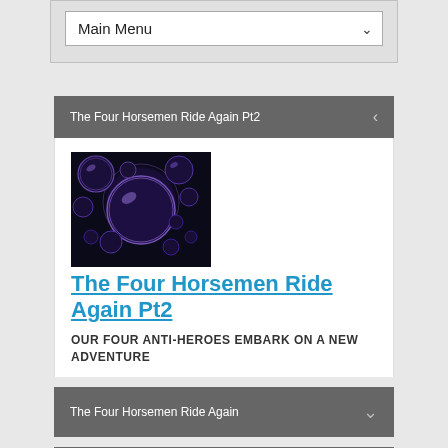[Figure (screenshot): Main Menu dropdown selector with arrow]
The Four Horsemen Ride Again Pt2
[Figure (photo): Dark image with purple glowing bubbles/orbs]
The Four Horsemen Ride Again Pt2
OUR FOUR ANTI-HEROES EMBARK ON A NEW ADVENTURE
The Four Horsemen Ride Again
Be careful where you drive